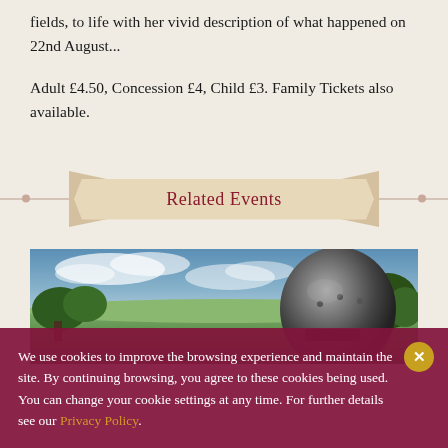fields, to life with her vivid description of what happened on 22nd August...
Adult £4.50, Concession £4, Child £3. Family Tickets also available.
Related Events
[Figure (photo): Wide panoramic photo showing a countryside landscape with blue sky and clouds, green fields and trees, and a close-up of a medieval metal helmet in the foreground right.]
We use cookies to improve the browsing experience and maintain the site. By continuing browsing, you agree to these cookies being used. You can change your cookie settings at any time. For further details see our Privacy Policy.